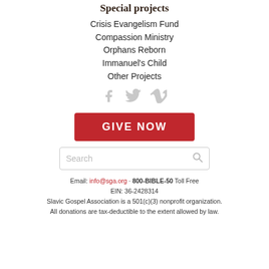Special projects
Crisis Evangelism Fund
Compassion Ministry
Orphans Reborn
Immanuel's Child
Other Projects
[Figure (illustration): Social media icons: Facebook, Twitter, Vimeo in light gray]
[Figure (infographic): Red 'GIVE NOW' button]
[Figure (screenshot): Search input box with placeholder text 'Search' and a search icon]
Email: info@sga.org · 800-BIBLE-50 Toll Free
EIN: 36-2428314
Slavic Gospel Association is a 501(c)(3) nonprofit organization.
All donations are tax-deductible to the extent allowed by law.